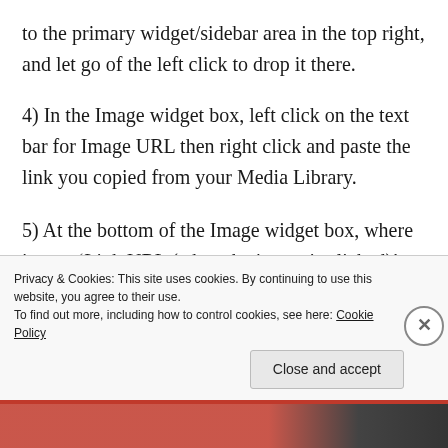to the primary widget/sidebar area in the top right, and let go of the left click to drop it there.
4) In the Image widget box, left click on the text bar for Image URL then right click and paste the link you copied from your Media Library.
5) At the bottom of the Image widget box, where it says ‘Link URL (when the image is clicked)’,
Privacy & Cookies: This site uses cookies. By continuing to use this website, you agree to their use.
To find out more, including how to control cookies, see here: Cookie Policy
Close and accept